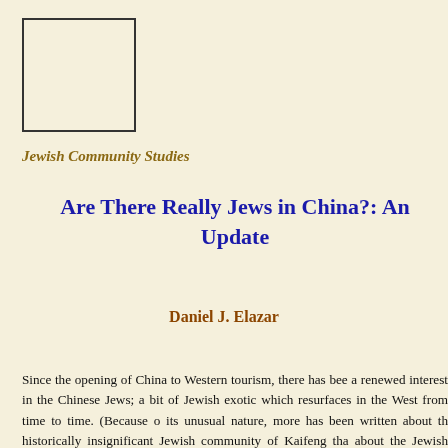[Figure (logo): Square logo box outline for Jewish Community Studies publication]
Jewish Community Studies
Are There Really Jews in China?: An Update
Daniel J. Elazar
Since the opening of China to Western tourism, there has been a renewed interest in the Chinese Jews; a bit of Jewish exotica which resurfaces in the West from time to time. (Because of its unusual nature, more has been written about the historically insignificant Jewish community of Kaifeng than about the Jewish communities of China...More)